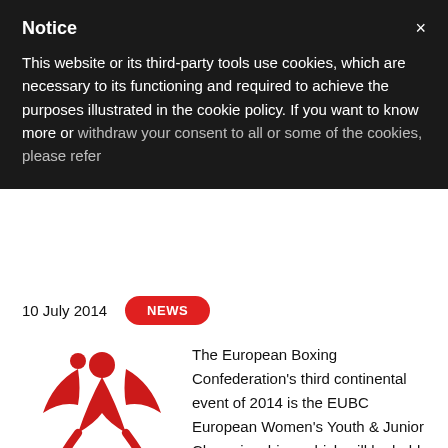Notice
This website or its third-party tools use cookies, which are necessary to its functioning and required to achieve the purposes illustrated in the cookie policy. If you want to know more or withdraw your consent to all or some of the cookies, please refer
10 July 2014  NEWS
[Figure (logo): European Boxing Championship Women's Youth and Junior - ASSISI 2014 logo with red figure design]
The European Boxing Confederation's third continental event of 2014 is the EUBC European Women's Youth & Junior Championships, which will be held in Assisi, Italy from July 20 until July 27.
The registration procedure for the event has now closed, and a record number of athletes will compete